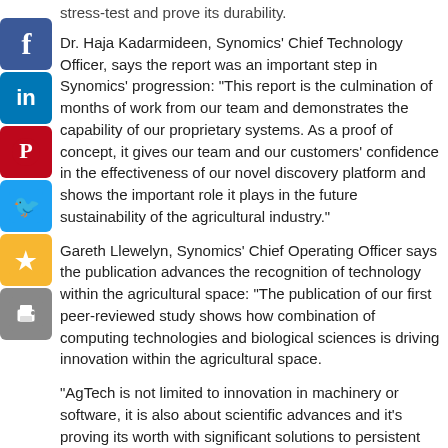Dr. Haja Kadarmideen, Synomics’ Chief Technology Officer, says the report was an important step in Synomics’ progression: “This report is the culmination of months of work from our team and demonstrates the capability of our proprietary systems. As a proof of concept, it gives our team and our customers’ confidence in the effectiveness of our novel discovery platform and shows the important role it plays in the future sustainability of the agricultural industry.”
Gareth Llewelyn, Synomics’ Chief Operating Officer says the publication advances the recognition of technology within the agricultural space: “The publication of our first peer-reviewed study shows how combination of computing technologies and biological sciences is driving innovation within the agricultural space.
“AgTech is not limited to innovation in machinery or software, it is also about scientific advances and it’s proving its worth with significant solutions to persistent problems like methane emissions.”
The full report is available to download at